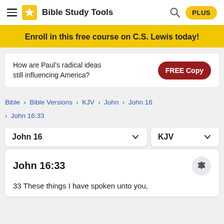Bible Study Tools
Enroll in this free course on C.S. Lewis today!
How are Paul's radical ideas still influencing America?  FREE Copy
Bible > Bible Versions > KJV > John > John 16 > John 16:33
John 16  KJV
John 16:33
33 These things I have spoken unto you,